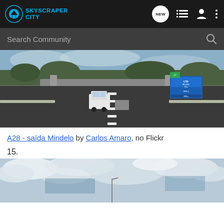SkyscraperCity — NEW | menu | profile | more
Search Community
[Figure (photo): Motorway A28 in Portugal, showing a highway with an overpass bridge, a white van driving ahead, blue highway signs visible on the right, trees and cloudy sky in background]
A28 - saída Mindelo by Carlos Amaro, no Flickr
15.
[Figure (photo): Road or highway scene with cloudy sky, partial view of road infrastructure and a street light visible at bottom center]